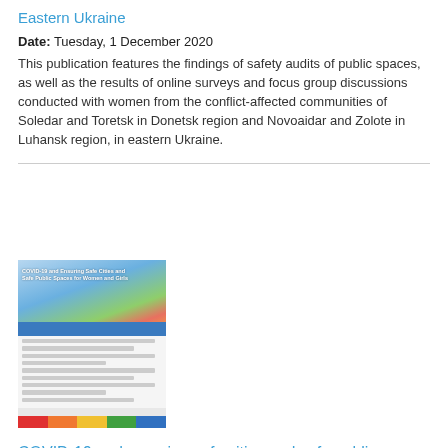Eastern Ukraine
Date: Tuesday, 1 December 2020
This publication features the findings of safety audits of public spaces, as well as the results of online surveys and focus group discussions conducted with women from the conflict-affected communities of Soledar and Toretsk in Donetsk region and Novoaidar and Zolote in Luhansk region, in eastern Ukraine.
[Figure (photo): Thumbnail cover image of a publication about COVID-19 and safe public spaces for women and girls, showing two people on bicycles with flowers in background]
COVID-19 and ensuring safe cities and safe public spaces for women and girls
Date: Monday, 4 May 2020
This brief highlights emerging trends and implications for women's and girls' safety in public spaces and cities, recognizing the continuum of violence against women and girls in private and